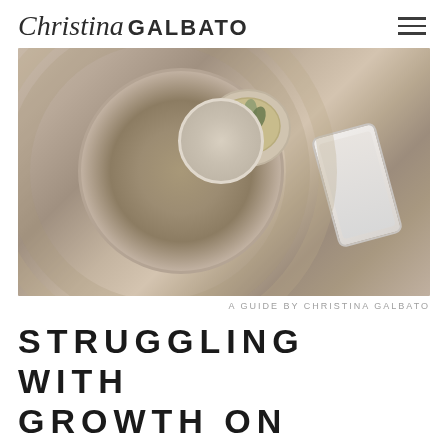Christina GALBATO
[Figure (photo): Overhead/flat-lay photo of a rustic round wooden table with a small succulent plant in a bowl and a smartphone, in warm sepia/beige tones]
A GUIDE BY CHRISTINA GALBATO
STRUGGLING WITH GROWTH ON INSTAGRAM?
Trust me, I get it. The algorithm can